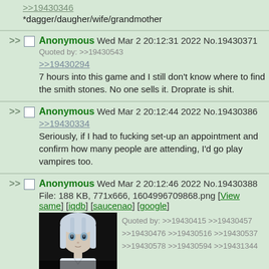>>19430346
*dagger/daugher/wife/grandmother
Anonymous Wed Mar 2 20:12:31 2022 No.19430371
Quoted by: >>19430543
>>19430294
7 hours into this game and I still don't know where to find the smith stones. No one sells it. Droprate is shit.
Anonymous Wed Mar 2 20:12:44 2022 No.19430386
>>19430334
Seriously, if I had to fucking set-up an appointment and confirm how many people are attending, I'd go play vampires too.
Anonymous Wed Mar 2 20:12:46 2022 No.19430388
File: 188 KB, 771x666, 1604996709868.png [View same] [iqdb] [saucenao] [google]
Quoted by: >>19430415 >>19430457 >>19430476 >>19430516 >>19430537 >>19430578 >>19430594 >>19431344